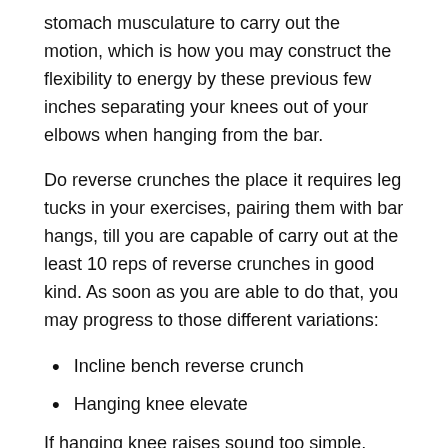stomach musculature to carry out the motion, which is how you may construct the flexibility to energy by these previous few inches separating your knees out of your elbows when hanging from the bar.
Do reverse crunches the place it requires leg tucks in your exercises, pairing them with bar hangs, till you are capable of carry out at the least 10 reps of reverse crunches in good kind. As soon as you are able to do that, you may progress to those different variations:
Incline bench reverse crunch
Hanging knee elevate
If hanging knee raises sound too simple, then I can just about assure you are doing them the flawed manner: along with your legs hanging down and flexing on the hips. In the